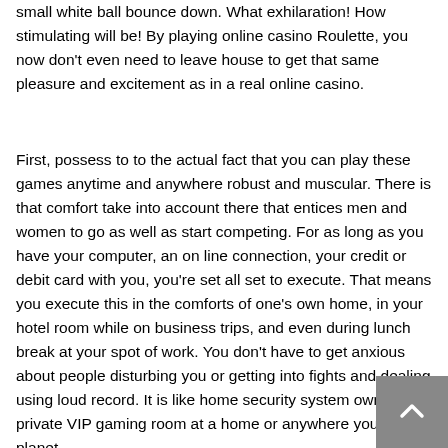small white ball bounce down. What exhilaration! How stimulating will be! By playing online casino Roulette, you now don't even need to leave house to get that same pleasure and excitement as in a real online casino.
First, possess to to the actual fact that you can play these games anytime and anywhere robust and muscular. There is that comfort take into account there that entices men and women to go as well as start competing. For as long as you have your computer, an on line connection, your credit or debit card with you, you're set all set to execute. That means you execute this in the comforts of one's own home, in your hotel room while on business trips, and even during lunch break at your spot of work. You don't have to get anxious about people disturbing you or getting into fights and dealing using loud record. It is like home security system own private VIP gaming room at a home or anywhere you are in planet.